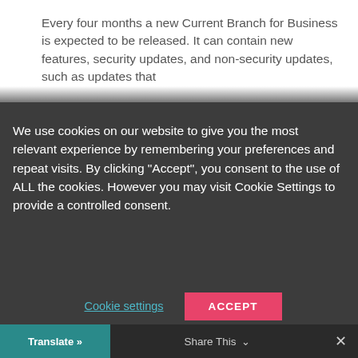Every four months a new Current Branch for Business is expected to be released. It can contain new features, security updates, and non-security updates, such as updates that
We use cookies on our website to give you the most relevant experience by remembering your preferences and repeat visits. By clicking “Accept”, you consent to the use of ALL the cookies. However you may visit Cookie Settings to provide a controlled consent.
Cookie settings
ACCEPT
Translate »
Share This
×